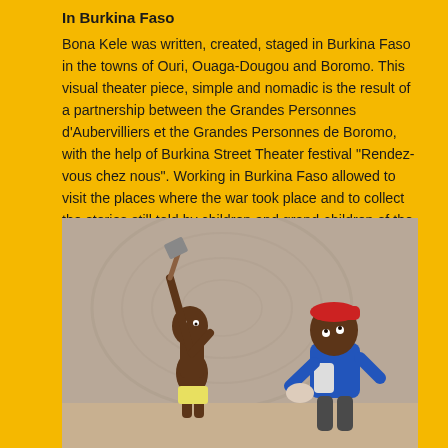In Burkina Faso
Bona Kele was written, created, staged in Burkina Faso in the towns of Ouri, Ouaga-Dougou and Boromo. This visual theater piece, simple and nomadic is the result of a partnership between the Grandes Personnes d'Aubervilliers et the Grandes Personnes de Boromo, with the help of Burkina Street Theater festival "Rendez-vous chez nous". Working in Burkina Faso allowed to visit the places where the war took place and to collect the stories still told by children and grand-children of the insurgents.
[Figure (photo): A photograph showing two puppet or clay figurines. One figurine on the left is a thin dark-skinned character holding an axe raised overhead, wearing yellow briefs. The other figurine on the right is a larger dark-skinned character wearing a blue shirt and red cap, leaning back. They are posed in front of a textured clay/mud wall background.]